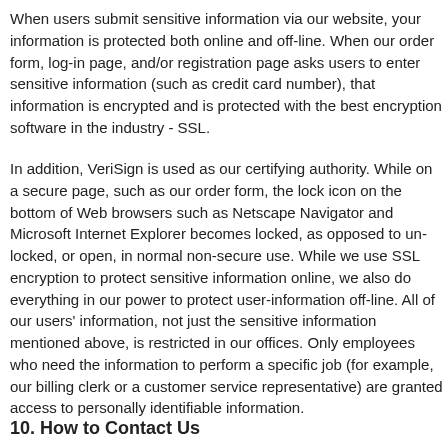When users submit sensitive information via our website, your information is protected both online and off-line. When our order form, log-in page, and/or registration page asks users to enter sensitive information (such as credit card number), that information is encrypted and is protected with the best encryption software in the industry - SSL.
In addition, VeriSign is used as our certifying authority. While on a secure page, such as our order form, the lock icon on the bottom of Web browsers such as Netscape Navigator and Microsoft Internet Explorer becomes locked, as opposed to un-locked, or open, in normal non-secure use. While we use SSL encryption to protect sensitive information online, we also do everything in our power to protect user-information off-line. All of our users' information, not just the sensitive information mentioned above, is restricted in our offices. Only employees who need the information to perform a specific job (for example, our billing clerk or a customer service representative) are granted access to personally identifiable information.
10. How to Contact Us